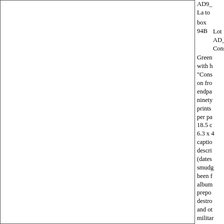AD9_ La to
box
94B  Lot AD_ Const
Green with h "Cons on fro endpa ninety prints per pa 18.5 c 6.3 x 4 captio descri (dates smudg been f album prepo destro and ot militar the vo
94B  AD9_ l'Atm Guilla
94B  AD9_ Fonta